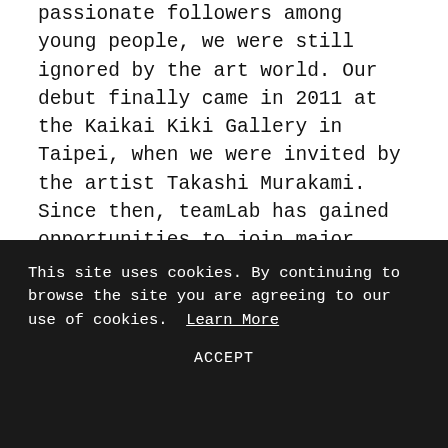passionate followers among young people, we were still ignored by the art world. Our debut finally came in 2011 at the Kaikai Kiki Gallery in Taipei, when we were invited by the artist Takashi Murakami. Since then, teamLab has gained opportunities to join major contemporary art exhibitions in cosmopolitan cities and in 2014, New York PACE Gallery started to help promote teamLab artworks. These fortunate factors allowed teamLab to expand rapidly, eventually exhibiting in cities like London, Melbourne, Taipei and many others.
How do you think teamLab's perspective has
This site uses cookies. By continuing to browse the site you are agreeing to our use of cookies. Learn More
ACCEPT
people's standards of value and contribute to